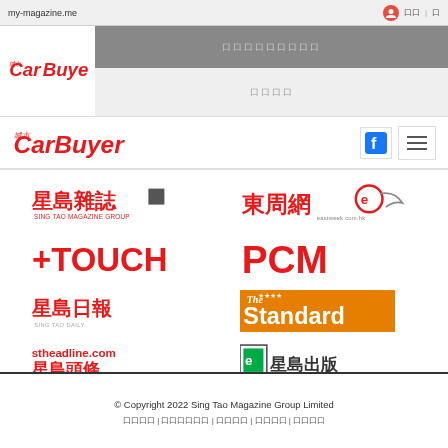my-magazine.me
[Figure (logo): Car Buyer magazine logo in red italic text in header area]
[Figure (screenshot): Website navigation bar with Car Buyer logo, Facebook icon, and hamburger menu]
[Figure (logo): Sing Tao Magazine Group logo with Chinese characters]
[Figure (logo): 東周網 (Eastweek) logo]
[Figure (logo): +TOUCH logo in red]
[Figure (logo): PCM logo in red]
[Figure (logo): 星島日報 (Sing Tao Daily) logo]
[Figure (logo): The Standard newspaper logo on orange background]
[Figure (logo): stheadline.com 星島頭條 logo]
[Figure (logo): 星島出版 (Sing Tao Publishing) logo]
© Copyright 2022 Sing Tao Magazine Group Limited